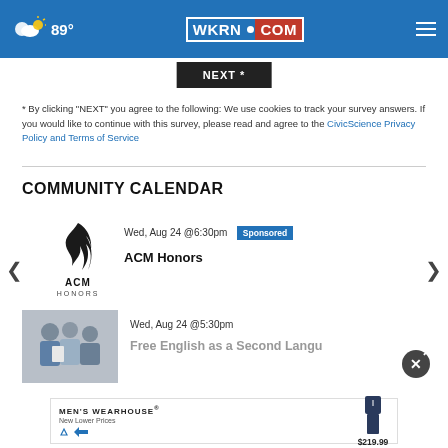WKRN.COM — 89° weather — navigation header
NEXT *
* By clicking "NEXT" you agree to the following: We use cookies to track your survey answers. If you would like to continue with this survey, please read and agree to the CivicScience Privacy Policy and Terms of Service
COMMUNITY CALENDAR
Wed, Aug 24 @6:30pm Sponsored
ACM Honors
[Figure (logo): ACM Honors logo — stylized flame/smoke graphic above 'ACM HONORS' text]
Wed, Aug 24 @5:30pm
Free English as a Second Language Class
[Figure (photo): Photo of three people in business attire looking at documents]
[Figure (photo): Men's Wearhouse advertisement banner — $219.99 — New Lower Prices]